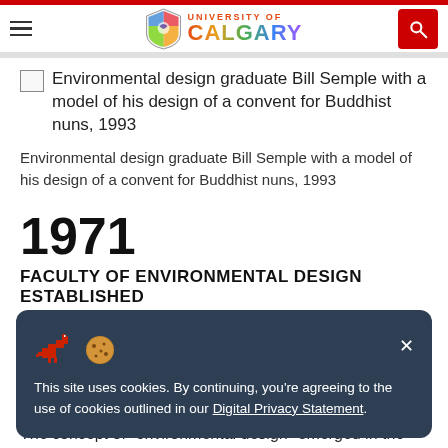University of Calgary
[Figure (photo): Broken image placeholder for: Environmental design graduate Bill Semple with a model of his design of a convent for Buddhist nuns, 1993]
Environmental design graduate Bill Semple with a model of his design of a convent for Buddhist nuns, 1993
1971
FACULTY OF ENVIRONMENTAL DESIGN ESTABLISHED
The Faculty of Environmental Design (EVDS) was
This site uses cookies. By continuing, you're agreeing to the use of cookies outlined in our Digital Privacy Statement.
The concept of "environmental design" emerged in the